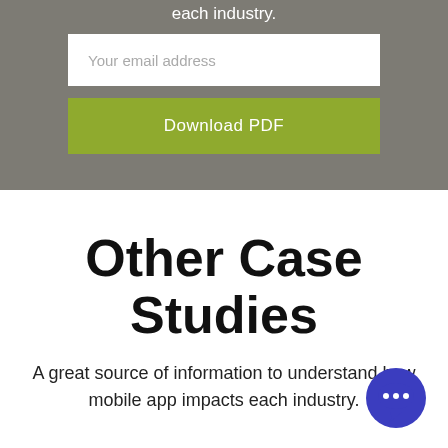each industry.
Your email address
Download PDF
Other Case Studies
A great source of information to understand how mobile app impacts each industry.
[Figure (illustration): Blue circular chat bubble icon with three dots indicating a messaging widget]